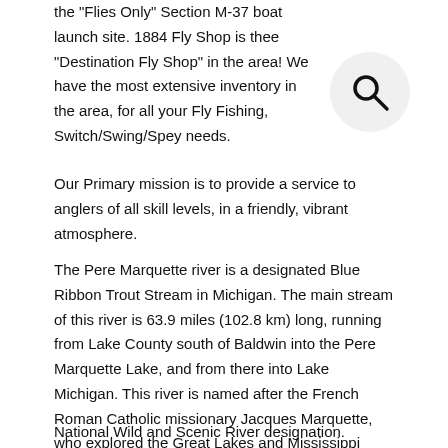the "Flies Only" Section M-37 boat launch site. 1884 Fly Shop is thee "Destination Fly Shop" in the area!  We have the most extensive inventory in the area, for all your Fly Fishing, Switch/Swing/Spey needs.
[Figure (illustration): Search icon (magnifying glass) inside a light gray circle]
Our Primary mission is to provide a service to anglers of all skill levels, in a friendly, vibrant atmosphere.
The Pere Marquette river is a designated Blue Ribbon Trout Stream in Michigan. The main stream of this river is 63.9 miles (102.8 km) long, running from Lake County south of Baldwin into the Pere Marquette Lake, and from there into Lake Michigan. This river is named after the French Roman Catholic missionary Jacques Marquette, who explored the Great Lakes and Mississippi River areas during the mid-17th century. He died in the vicinity of the river in spring 1675 on his way from Chicago to the French fort at Mackinaw.
National Wild and Scenic River designation.